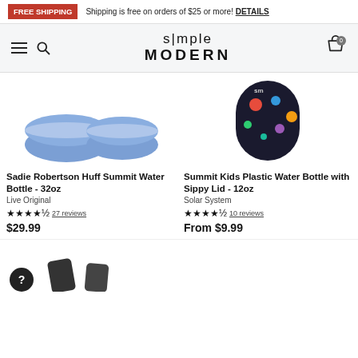FREE SHIPPING  Shipping is free on orders of $25 or more! DETAILS
[Figure (logo): Simple Modern logo with hamburger menu, search icon, and cart icon with 0 badge]
[Figure (photo): Sadie Robertson Huff Summit Water Bottle 32oz in Live Original color - blue bowls/lids]
Sadie Robertson Huff Summit Water Bottle - 32oz
Live Original
4.5 stars, 27 reviews
$29.99
[Figure (photo): Summit Kids Plastic Water Bottle with Sippy Lid 12oz in Solar System color - dark bottle with planets]
Summit Kids Plastic Water Bottle with Sippy Lid - 12oz
Solar System
4.5 stars, 10 reviews
From $9.99
[Figure (photo): Bottom partial product images with help button circle]